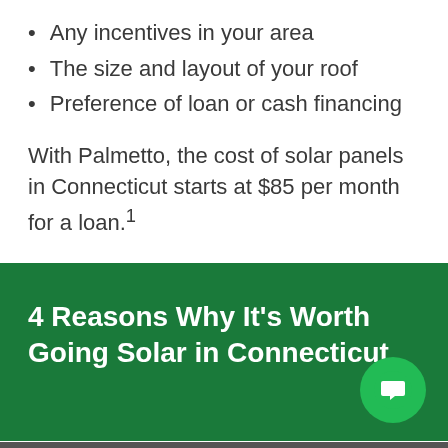Any incentives in your area
The size and layout of your roof
Preference of loan or cash financing
With Palmetto, the cost of solar panels in Connecticut starts at $85 per month for a loan.¹
4 Reasons Why It’s Worth Going Solar in Connecticut